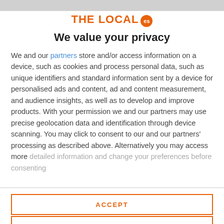[Figure (logo): THE LOCAL es logo with orange text and circular badge]
We value your privacy
We and our partners store and/or access information on a device, such as cookies and process personal data, such as unique identifiers and standard information sent by a device for personalised ads and content, ad and content measurement, and audience insights, as well as to develop and improve products. With your permission we and our partners may use precise geolocation data and identification through device scanning. You may click to consent to our and our partners' processing as described above. Alternatively you may access more detailed information and change your preferences before consenting
ACCEPT
MORE OPTIONS